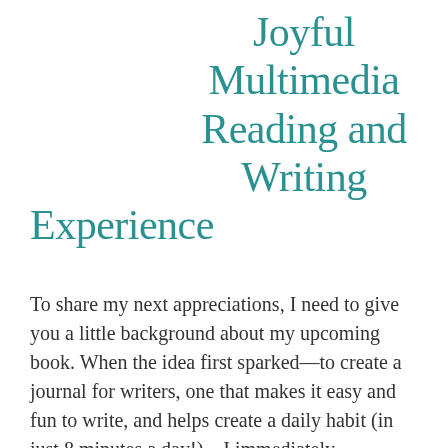Joyful Multimedia Reading and Writing Experience
To share my next appreciations, I need to give you a little background about my upcoming book. When the idea first sparked—to create a journal for writers, one that makes it easy and fun to write, and helps create a daily habit (in just 8 minutes a day!)—I immediately envisioned including videos. I'd recommended this media-rich feature to several clients and